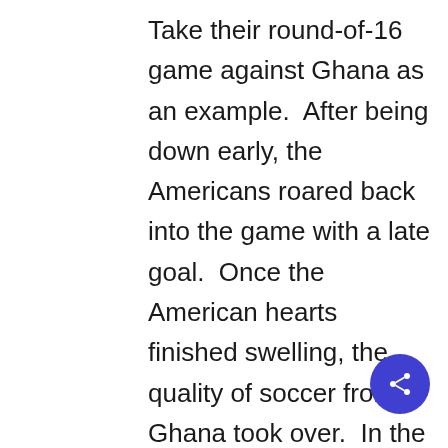Take their round-of-16 game against Ghana as an example.  After being down early, the Americans roared back into the game with a late goal.  Once the American hearts finished swelling, the quality of soccer from Ghana took over.  In the overtime period, Ghana proved to be too much to handle.  In what seemed to be inevitable, Ghana scored an overtime goal and won the game.  After the game, Landon Donovan explained that when you play teams of Ghana's caliber, they will make you pay for even the slightest of mistakes.  In the US's case, falling behind